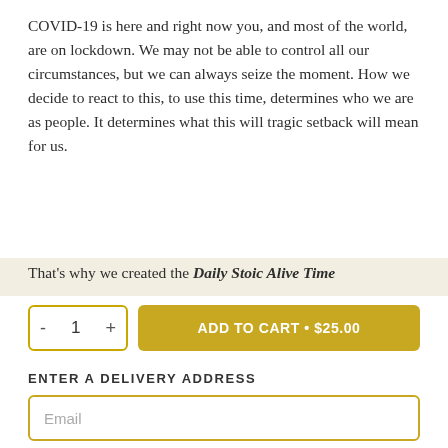COVID-19 is here and right now you, and most of the world, are on lockdown. We may not be able to control all our circumstances, but we can always seize the moment. How we decide to react to this, to use this time, determines who we are as people. It determines what this will tragic setback will mean for us.
That's why we created the Daily Stoic Alive Time
[Figure (screenshot): E-commerce add to cart UI: quantity selector showing minus button, 1, plus button in a bordered box; gold 'ADD TO CART • $25.00' button]
ENTER A DELIVERY ADDRESS
[Figure (screenshot): Email input field with placeholder text 'Email', gold border]
THIS IS A GIFT